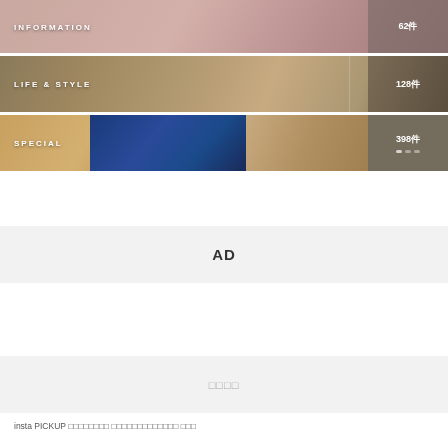[Figure (screenshot): INFORMATION banner with illustrated character background, showing label 'INFORMATION' on left and count '62件' on right dark panel]
[Figure (screenshot): LIFE & STYLE banner with cafe/kitchen background photo, showing label 'LIFE & STYLE' on left and count '128件' on right dark panel]
[Figure (screenshot): SPECIAL banner with multi-section background (tan, navy blue doodles, wood), showing label 'SPECIAL' on left and count '398件' on dark right panel with navigation dots]
AD
□□□□
insta PICKUP □□□□□□□□ □□□□□□□□□□□□□ □□□